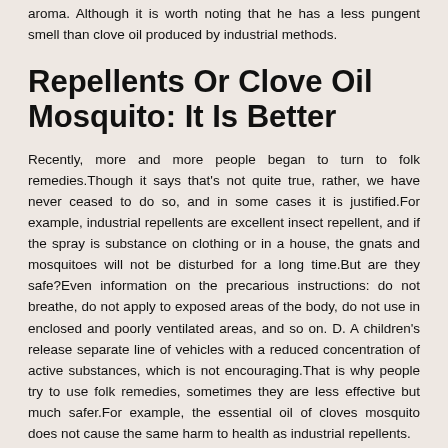aroma. Although it is worth noting that he has a less pungent smell than clove oil produced by industrial methods.
Repellents Or Clove Oil Mosquito: It Is Better
Recently, more and more people began to turn to folk remedies.Though it says that's not quite true, rather, we have never ceased to do so, and in some cases it is justified.For example, industrial repellents are excellent insect repellent, and if the spray is substance on clothing or in a house, the gnats and mosquitoes will not be disturbed for a long time.But are they safe?Even information on the precarious instructions: do not breathe, do not apply to exposed areas of the body, do not use in enclosed and poorly ventilated areas, and so on. D. A children's release separate line of vehicles with a reduced concentration of active substances, which is not encouraging.That is why people try to use folk remedies, sometimes they are less effective but much safer.For example, the essential oil of cloves mosquito does not cause the same harm to health as industrial repellents.